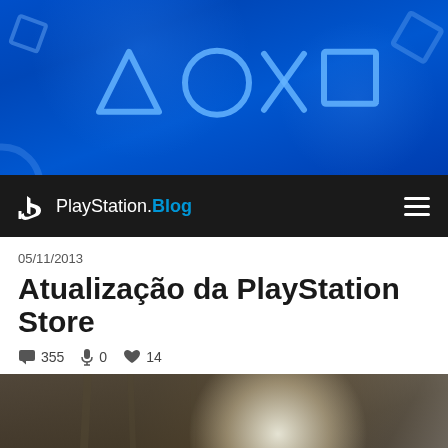[Figure (screenshot): PlayStation banner with blue background and PlayStation controller symbols (triangle, circle, X, square) in light blue]
PlayStation.Blog
05/11/2013
Atualização da PlayStation Store
355  0  14
[Figure (photo): Dark game scene showing soldier with weapon equipment against bright backlight, with PlayStation Store shopping bag icon in bottom right corner]